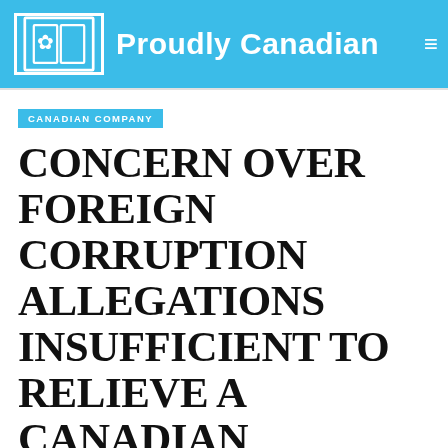Proudly Canadian
CANADIAN COMPANY
CONCERN OVER FOREIGN CORRUPTION ALLEGATIONS INSUFFICIENT TO RELIEVE A CANADIAN COMPANY